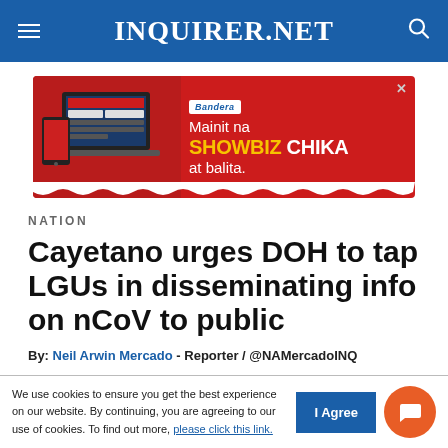INQUIRER.NET
[Figure (photo): Advertisement banner for Bandera: red background with laptop and phone devices on left, text 'Mainit na SHOWBIZ CHIKA at balita.' on right with Bandera logo]
NATION
Cayetano urges DOH to tap LGUs in disseminating info on nCoV to public
By: Neil Arwin Mercado - Reporter / @NAMercadoINQ
We use cookies to ensure you get the best experience on our website. By continuing, you are agreeing to our use of cookies. To find out more, please click this link.